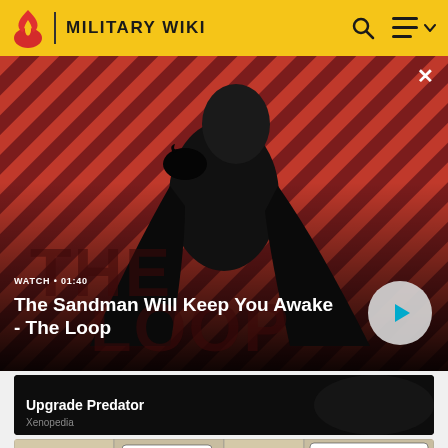MILITARY WIKI
[Figure (screenshot): Video thumbnail for 'The Sandman Will Keep You Awake - The Loop' showing a pale figure in black with a raven on shoulder against a red diagonal striped background. Duration: 01:40. Has a play button.]
WATCH • 01:40
The Sandman Will Keep You Awake - The Loop
[Figure (screenshot): Dark thumbnail showing 'Upgrade Predator' card from Xenopedia wiki]
Upgrade Predator
Xenopedia
[Figure (screenshot): Comic strip panel showing speech bubbles with partial text: 'ONLY THIS.', 'HE SAID YOU WOULD UNDERSTAND HIS MEANING.', 'AH, YES, YES.', 'HERE ARE THE FRUITS OF RANDOMNESS, THE HARVEST OF...']